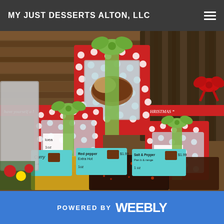MY JUST DESSERTS ALTON, LLC
[Figure (photo): Red polka-dot gift boxes with green ribbons containing desserts, displayed on a wooden surface along with small labeled bags of spices/toppings including Curry, Red Pepper Extra Hot, and Salt & Pepper, with tags showing prices. A striped Christmas-themed banner is visible in the background.]
POWERED BY weebly